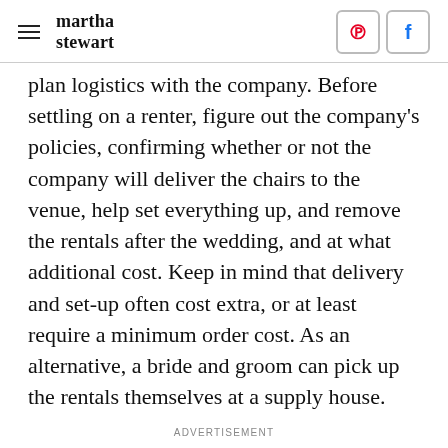martha stewart
plan logistics with the company. Before settling on a renter, figure out the company's policies, confirming whether or not the company will deliver the chairs to the venue, help set everything up, and remove the rentals after the wedding, and at what additional cost. Keep in mind that delivery and set-up often cost extra, or at least require a minimum order cost. As an alternative, a bride and groom can pick up the rentals themselves at a supply house.
ADVERTISEMENT